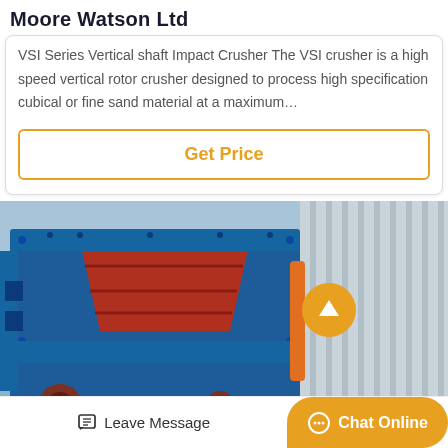Moore Watson Ltd
VSI Series Vertical shaft Impact Crusher The VSI crusher is a high speed vertical rotor crusher designed to process high specification cubical or fine sand material at a maximum…
[Figure (other): Orange-bordered button with text 'Get Price']
[Figure (photo): Photo of a large blue and red industrial impact crusher machine outdoors, with a corrugated metal wall in the background. An orange circular up-arrow button overlaid on the right side.]
Leave Message
Chat Online